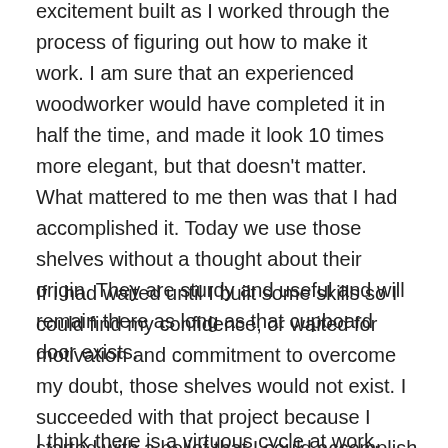excitement built as I worked through the process of figuring out how to make it work. I am sure that an experienced woodworker would have completed it in half the time, and made it look 10 times more elegant, but that doesn't matter. What mattered to me then was that I had accomplished it. Today we use those shelves without a thought about their origin. They are sturdy and useful and will remain there as long as that cupboard door exists.
If I had waited until I built some skills so I could find my confidence, or waited for motivation and commitment to overcome my doubt, those shelves would not exist. I succeeded with that project because I started with a belief that I could accomplish the task, then worked out how to do it along the way.
I think there is a virtuous cycle at work. Because I was